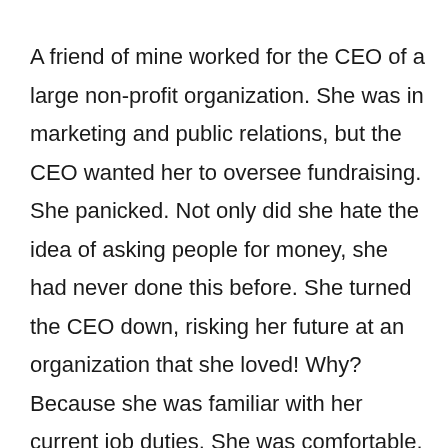A friend of mine worked for the CEO of a large non-profit organization. She was in marketing and public relations, but the CEO wanted her to oversee fundraising. She panicked. Not only did she hate the idea of asking people for money, she had never done this before. She turned the CEO down, risking her future at an organization that she loved! Why? Because she was familiar with her current job duties. She was comfortable. She knew how to shine at them and